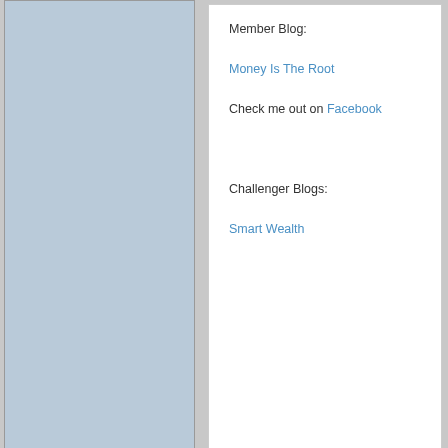Member Blog:

Money Is The Root

Check me out on Facebook

Challenger Blogs:

Smart Wealth
11:34 am
January 27, 2014
OFFLINE  Print this Post  22
FrugalRules
Member
posts 161
Very well put Justin.

I think #4 is a point that is worth thinking over. While there may be some negative impacts of some of the